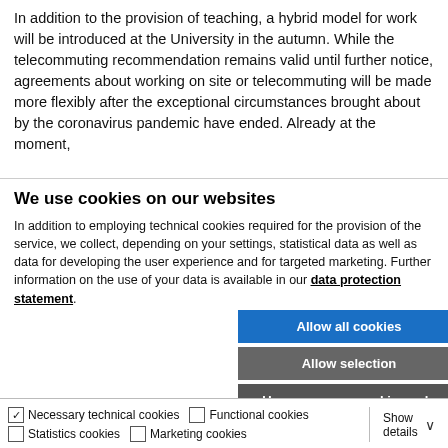In addition to the provision of teaching, a hybrid model for work will be introduced at the University in the autumn. While the telecommuting recommendation remains valid until further notice, agreements about working on site or telecommuting will be made more flexibly after the exceptional circumstances brought about by the coronavirus pandemic have ended. Already at the moment,
We use cookies on our websites
In addition to employing technical cookies required for the provision of the service, we collect, depending on your settings, statistical data as well as data for developing the user experience and for targeted marketing. Further information on the use of your data is available in our data protection statement.
[Figure (other): Three cookie consent buttons: 'Allow all cookies' (blue), 'Allow selection' (gray), 'Use necessary cookies only' (dark gray)]
| [checked] Necessary technical cookies | [unchecked] Functional cookies | Show details ▾ |
| [unchecked] Statistics cookies | [unchecked] Marketing cookies |  |